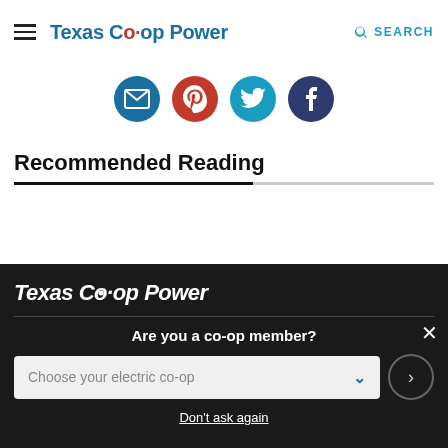Texas Co-op Power   SEARCH
[Figure (other): Social sharing icons row: email, Pinterest, Twitter, Facebook]
Recommended Reading
[Figure (logo): Texas Co-op Power logo in white italic on dark background]
Are you a co-op member?
Choose your electric co-op
Don't ask again